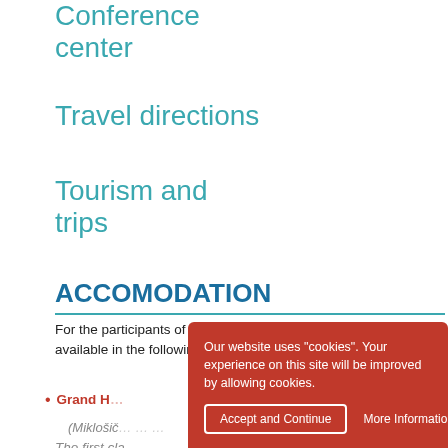Conference center
Travel directions
Tourism and trips
ACCOMODATION
For the participants of the ECOTRIB 2017 conference rooms are available in the following hotels near the conference area.
Grand H…
(Miklošič… … …)
The first cla… hotel in Ljubljana boo… pric…